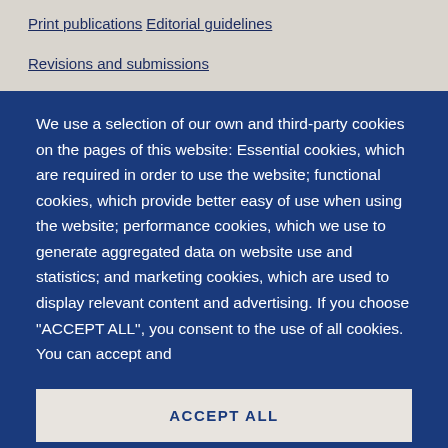Print publications
Editorial guidelines
Revisions and submissions
We use a selection of our own and third-party cookies on the pages of this website: Essential cookies, which are required in order to use the website; functional cookies, which provide better easy of use when using the website; performance cookies, which we use to generate aggregated data on website use and statistics; and marketing cookies, which are used to display relevant content and advertising. If you choose "ACCEPT ALL", you consent to the use of all cookies. You can accept and
ACCEPT ALL